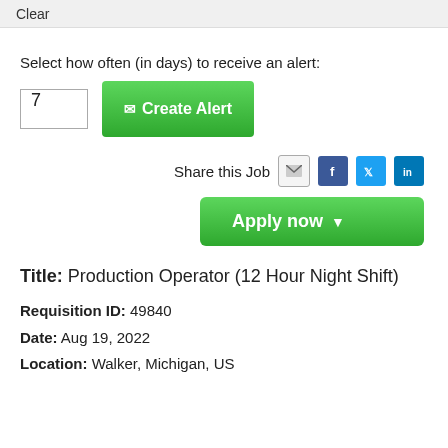Clear
Select how often (in days) to receive an alert:
7  Create Alert
Share this Job
Apply now
Title:  Production Operator (12 Hour Night Shift)
Requisition ID:  49840
Date:  Aug 19, 2022
Location:  Walker, Michigan, US